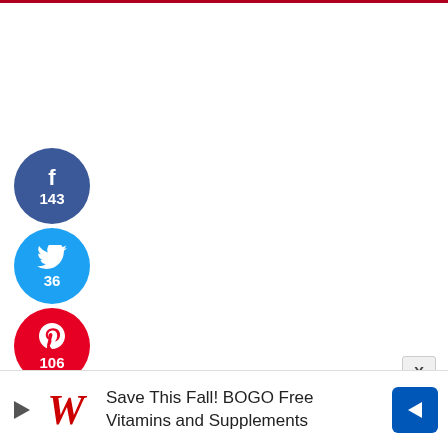[Figure (infographic): Social share buttons sidebar showing Facebook (143 shares), Twitter (36 shares), Pinterest (106 shares) as circular colored buttons, with total 285 SHARES below]
285
SHARES
[Figure (infographic): Walgreens advertisement banner: 'Save This Fall! BOGO Free Vitamins and Supplements' with Walgreens W logo and blue navigation arrow icon]